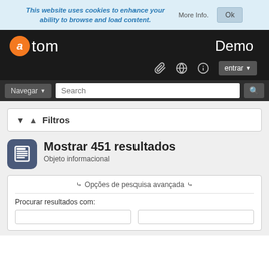This website uses cookies to enhance your ability to browse and load content. More Info.
atom Demo
Navegar | Search
▼ Filtros
Mostrar 451 resultados
Objeto informacional
❯❯ Opções de pesquisa avançada ❮❮
Procurar resultados com: